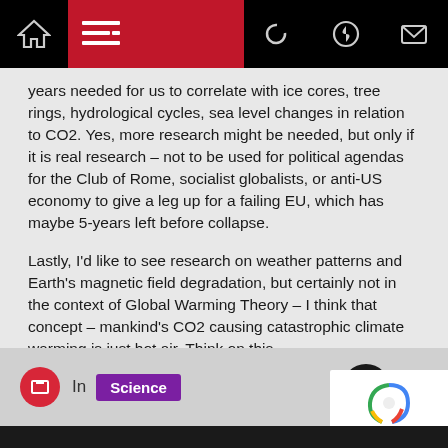Navigation bar with home, menu, dark mode, search, and mail icons
years needed for us to correlate with ice cores, tree rings, hydrological cycles, sea level changes in relation to CO2. Yes, more research might be needed, but only if it is real research – not to be used for political agendas for the Club of Rome, socialist globalists, or anti-US economy to give a leg up for a failing EU, which has maybe 5-years left before collapse.
Lastly, I'd like to see research on weather patterns and Earth's magnetic field degradation, but certainly not in the context of Global Warming Theory – I think that concept – mankind's CO2 causing catastrophic climate warming is just hot air. Think on this.
In Science